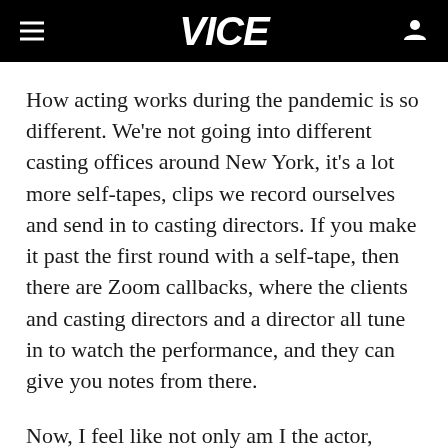VICE
How acting works during the pandemic is so different. We're not going into different casting offices around New York, it's a lot more self-tapes, clips we record ourselves and send in to casting directors. If you make it past the first round with a self-tape, then there are Zoom callbacks, where the clients and casting directors and a director all tune in to watch the performance, and they can give you notes from there.
Now, I feel like not only am I the actor, where I